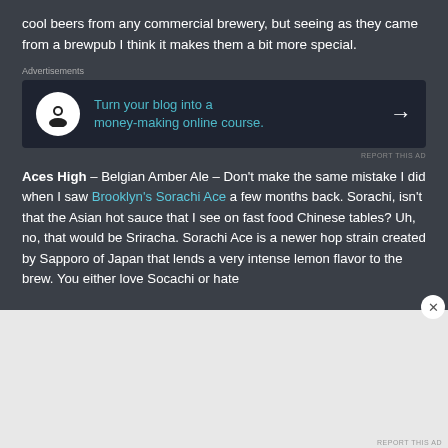cool beers from any commercial brewery, but seeing as they came from a brewpub I think it makes them a bit more special.
[Figure (infographic): Dark advertisement banner: 'Turn your blog into a money-making online course.' with icon and arrow]
Aces High – Belgian Amber Ale – Don't make the same mistake I did when I saw Brooklyn's Sorachi Ace a few months back. Sorachi, isn't that the Asian hot sauce that I see on fast food Chinese tables? Uh, no, that would be Sriracha. Sorachi Ace is a newer hop strain created by Sapporo of Japan that lends a very intense lemon flavor to the brew. You either love Socachi or hate
[Figure (infographic): DuckDuckGo advertisement: 'Search, browse, and email with more privacy. All in One Free App' with phone image]